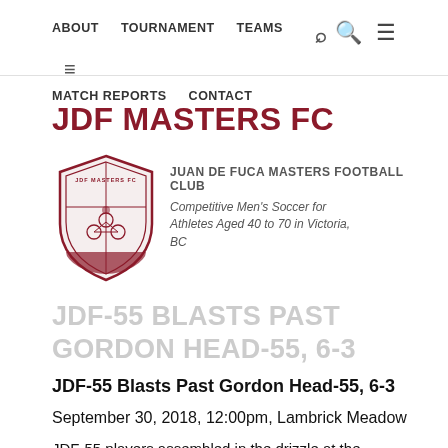ABOUT   TOURNAMENT   TEAMS   MATCH REPORTS   CONTACT
JDF MASTERS FC
[Figure (logo): JDF Masters FC shield logo with knight on bicycle, maroon and white colors]
JUAN DE FUCA MASTERS FOOTBALL CLUB
Competitive Men's Soccer for Athletes Aged 40 to 70 in Victoria, BC
JDF-55 BLASTS PAST GORDON HEAD-55, 6-3
JDF-55 Blasts Past Gordon Head-55, 6-3
September 30, 2018, 12:00pm, Lambrick Meadow
JDF-55 players assembled in the drizzle at the